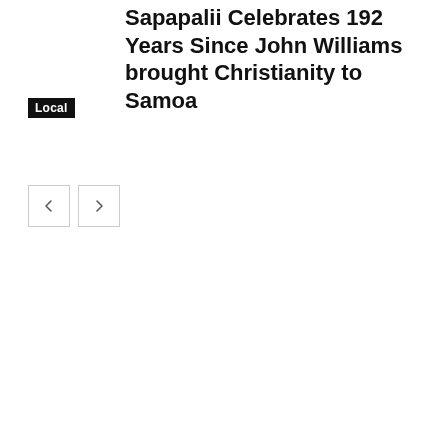Sapapalii Celebrates 192 Years Since John Williams brought Christianity to Samoa
Local
[Figure (other): Navigation prev/next arrow buttons]